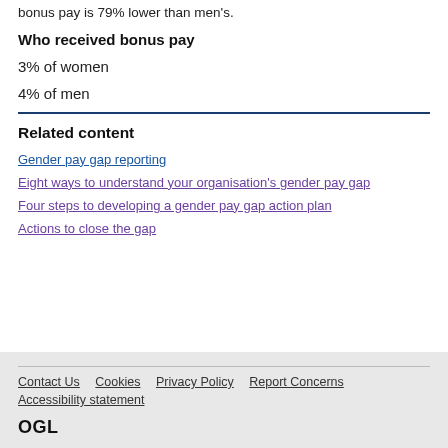bonus pay is 79% lower than men's.
Who received bonus pay
3% of women
4% of men
Related content
Gender pay gap reporting
Eight ways to understand your organisation's gender pay gap
Four steps to developing a gender pay gap action plan
Actions to close the gap
Contact Us   Cookies   Privacy Policy   Report Concerns   Accessibility statement   OGL